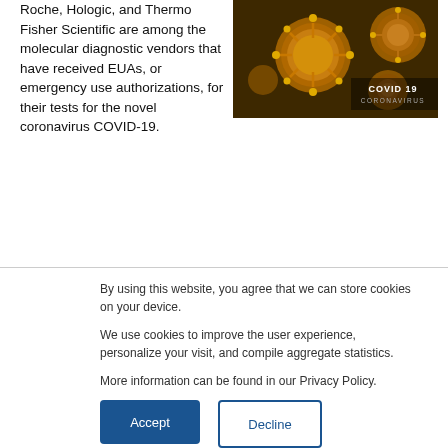Roche, Hologic, and Thermo Fisher Scientific are among the molecular diagnostic vendors that have received EUAs, or emergency use authorizations, for their tests for the novel coronavirus COVID-19.
[Figure (photo): Close-up image of coronavirus particles in golden/amber color with text overlay reading 'COVID 19 CORONAVIRUS']
By using this website, you agree that we can store cookies on your device.
We use cookies to improve the user experience, personalize your visit, and compile aggregate statistics.
More information can be found in our Privacy Policy.